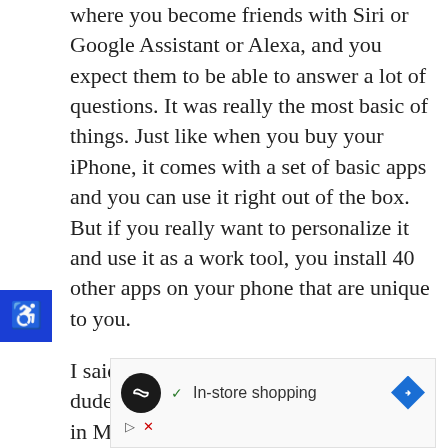where you become friends with Siri or Google Assistant or Alexa, and you expect them to be able to answer a lot of questions. It was really the most basic of things. Just like when you buy your iPhone, it comes with a set of basic apps and you can use it right out of the box. But if you really want to personalize it and use it as a work tool, you install 40 other apps on your phone that are unique to you.

I said, “what does a Danish American dude with two teenage daughters, living in Manhattan, running a startup need on his phone?” I said, Apple has no idea, which is
[Figure (other): Advertisement banner with a black circle logo containing infinity-like symbol, a green checkmark with 'In-store shopping' text, and a blue diamond-shaped navigation arrow icon. Below are play and close control icons.]